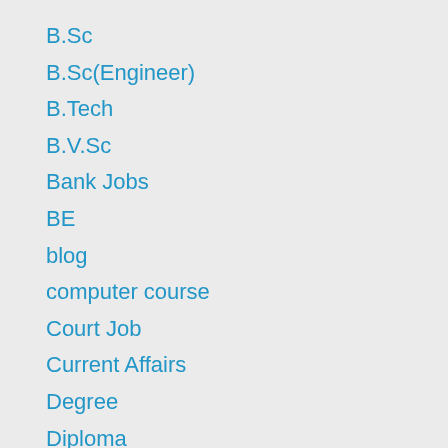B.Sc
B.Sc(Engineer)
B.Tech
B.V.Sc
Bank Jobs
BE
blog
computer course
Court Job
Current Affairs
Degree
Diploma
Diploma Electronics
Diploma in civil Engineer
Diploma in engineer